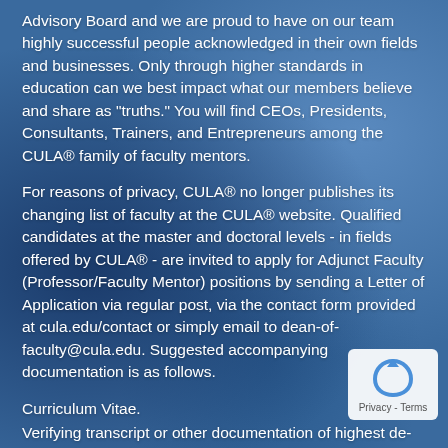Advisory Board and we are proud to have on our team highly successful people acknowledged in their own fields and businesses. Only through higher standards in education can we best impact what our members believe and share as "truths." You will find CEOs, Presidents, Consultants, Trainers, and Entrepreneurs among the CULA® family of faculty mentors.
For reasons of privacy, CULA® no longer publishes its changing list of faculty at the CULA® website. Qualified candidates at the master and doctoral levels - in fields offered by CULA® - are invited to apply for Adjunct Faculty (Professor/Faculty Mentor) positions by sending a Letter of Application via regular post, via the contact form provided at cula.edu/contact or simply email to dean-of-faculty@cula.edu. Suggested accompanying documentation is as follows.
Curriculum Vitae.
Verifying transcript or other documentation of highest degree held (whether earned or honorary).
Brief statement of specific expertise, including your top three...
[Figure (logo): reCAPTCHA Privacy - Terms badge in bottom right corner]